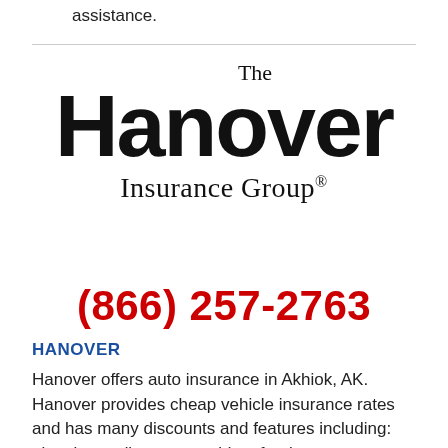assistance.
[Figure (logo): The Hanover Insurance Group logo with large bold 'Hanover' text and serif 'The' and 'Insurance Group®' text]
(866) 257-2763
HANOVER
Hanover offers auto insurance in Akhiok, AK. Hanover provides cheap vehicle insurance rates and has many discounts and features including: electric car discount, accident forgiveness, reimbursement for